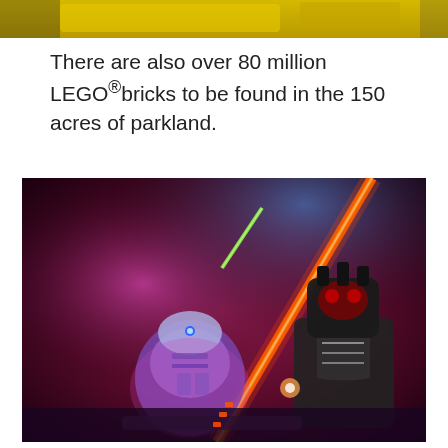[Figure (photo): Top portion of a photo showing yellow LEGO bricks or a yellow LEGO vehicle, cropped at the top of the page.]
There are also over 80 million LEGO®bricks to be found in the 150 acres of parkland.
[Figure (photo): Photo of LEGO Star Wars figures: R2-D2 and Darth Maul with a glowing red lightsaber in a dark, colorfully lit display setting.]